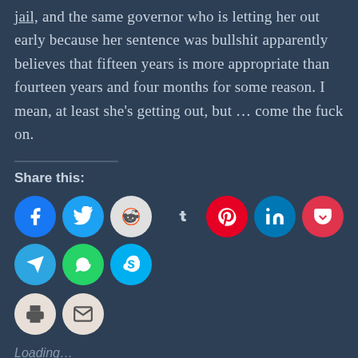jail, and the same governor who is letting her out early because her sentence was bullshit apparently believes that fifteen years is more appropriate than fourteen years and four months for some reason. I mean, at least she's getting out, but … come the fuck on.
Share this:
[Figure (other): Row of social media share icon buttons: Facebook, Twitter, Reddit, Tumblr, Pinterest, LinkedIn, Pocket, Telegram, WhatsApp, Skype, Print, Email]
Loading...